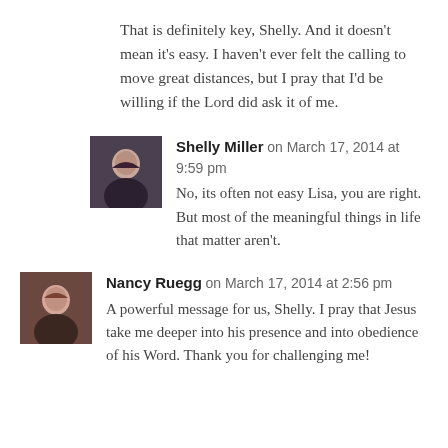That is definitely key, Shelly. And it doesn't mean it's easy. I haven't ever felt the calling to move great distances, but I pray that I'd be willing if the Lord did ask it of me.
Shelly Miller on March 17, 2014 at 9:59 pm
No, its often not easy Lisa, you are right. But most of the meaningful things in life that matter aren't.
Nancy Ruegg on March 17, 2014 at 2:56 pm
A powerful message for us, Shelly. I pray that Jesus take me deeper into his presence and into obedience of his Word. Thank you for challenging me!